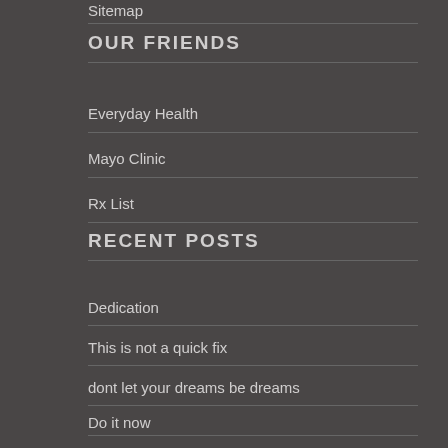Sitemap
OUR FRIENDS
Everyday Health
Mayo Clinic
Rx List
RECENT POSTS
Dedication
This is not a quick fix
dont let your dreams be dreams
Do it now
Every goal begins
People dont just find the strength
Power to change